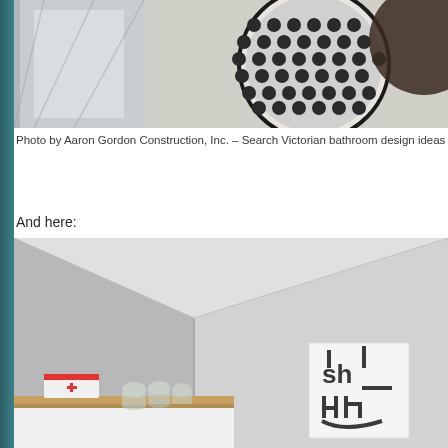[Figure (photo): Close-up photo of a circular washing machine drum door with polka dot pattern perforations in black and white, showing part of the drum interior]
Photo by Aaron Gordon Construction, Inc. – Search Victorian bathroom design ideas
And here:
[Figure (photo): Interior room photo showing a corner of a light gray room with white walls, a wooden shelf mounted near the bottom with a white first aid box with red cross, glass jars, and a decorative typographic poster on the right wall showing 'sh' text design]